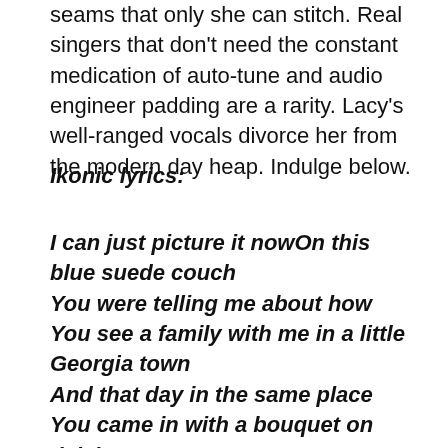seams that only she can stitch. Real singers that don't need the constant medication of auto-tune and audio engineer padding are a rarity. Lacy's well-ranged vocals divorce her from the modern day heap. Indulge below.
Ikonic lyrics:
I can just picture it nowOn this blue suede couch
You were telling me about how
You see a family with me in a little Georgia town
And that day in the same place
You came in with a bouquet on daisies
We played and talked about one day